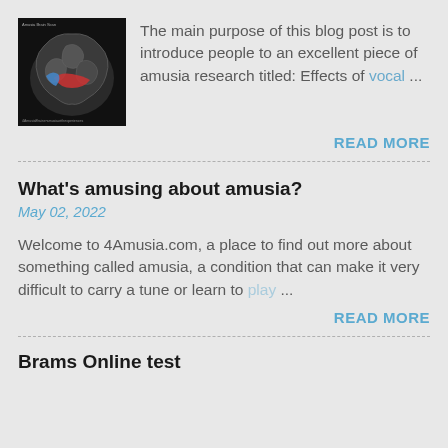[Figure (photo): MRI brain scan image showing a sagittal cross-section of a brain with colored regions highlighted in blue and red, on black background. Small caption text visible at top.]
The main purpose of this blog post is to introduce people to an excellent piece of amusia research titled: Effects of vocal ...
READ MORE
What's amusing about amusia?
May 02, 2022
Welcome to 4Amusia.com, a place to find out more about something called amusia, a condition that can make it very difficult to carry a tune or learn to play ...
READ MORE
Brams Online test